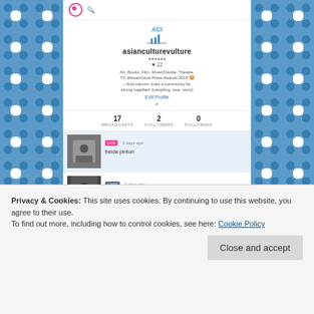[Figure (screenshot): Screenshot of a social media profile page for 'asianculturevulture' showing profile stats (17 broadcasts, 2 followers, 0 following) and three post thumbnails]
Privacy & Cookies: This site uses cookies. By continuing to use this website, you agree to their use.
To find out more, including how to control cookies, see here: Cookie Policy
Close and accept